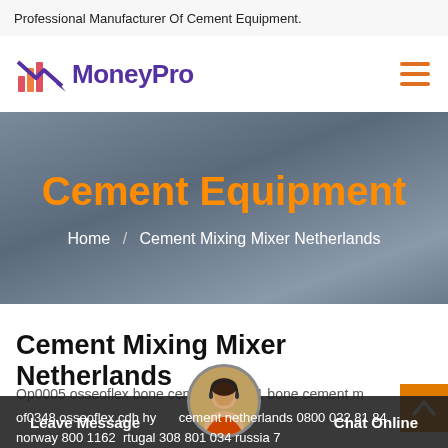Professional Manufacturer Of Cement Equipment.
[Figure (logo): MoneyPro logo with colorful bar chart icon and purple arrow, text 'MoneyPro' in purple bold font]
Cement Equipment
Home / Cement Mixing Mixer Netherlands
Cement Mixing Mixer Netherlands
Op0005 osseoflex bone cement mixer 1 bone cement m of0348 osseoflex cdh hy cement netherlands 0800 022 81 84 norway 800 1162 rtugal 308 801 034 russia 7